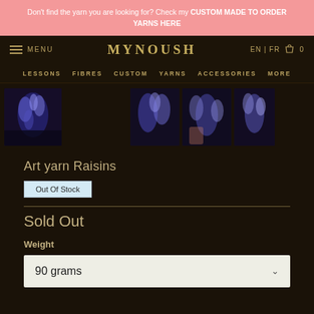Don't find the yarn you are looking for? Check my CUSTOM MADE TO ORDER YARNS HERE
MENU | MYNOUSH | EN | FR | 0
LESSONS  FIBRES  CUSTOM  YARNS  ACCESSORIES  MORE
[Figure (photo): Purple/blue art yarn skeins photographed against dark background — main large image plus three thumbnails]
Art yarn Raisins
Out Of Stock
Sold Out
Weight
90 grams